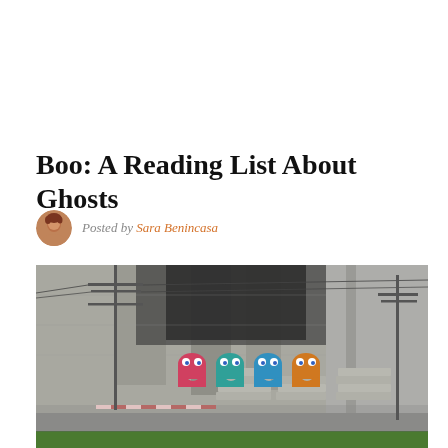Boo: A Reading List About Ghosts
Posted by Sara Benincasa
[Figure (photo): Street art photograph showing Pac-Man ghost characters (pink, teal, teal, orange) painted on a concrete wall, with power line poles, fencing, and stacked concrete slabs in foreground. Green grass strip at bottom.]